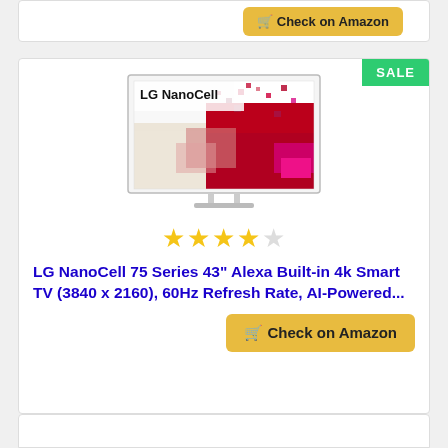[Figure (other): Partial product card top with Check on Amazon button]
[Figure (photo): LG NanoCell 75 Series 4K Smart TV product listing card with SALE badge, TV image, star rating, product title, and Check on Amazon button]
SALE
LG NanoCell 75 Series 43” Alexa Built-in 4k Smart TV (3840 x 2160), 60Hz Refresh Rate, AI-Powered...
[Figure (other): Partial bottom card (next product listing)]